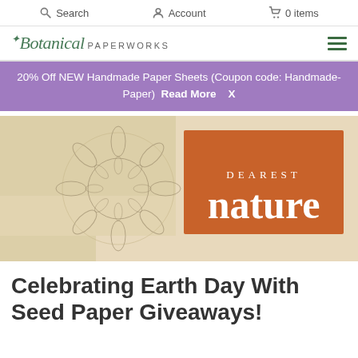Search   Account   0 items
✦Botanical PAPERWORKS
20% Off NEW Handmade Paper Sheets (Coupon code: Handmade-Paper)  Read More  X
[Figure (illustration): Hero banner with floral line art on beige/tan paper background, with an orange rectangle overlay reading 'DEAREST nature' in white serif text]
Celebrating Earth Day With Seed Paper Giveaways!